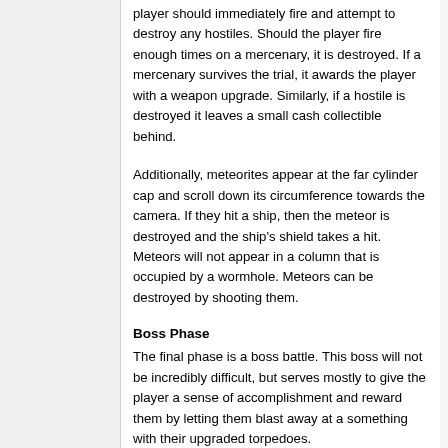player should immediately fire and attempt to destroy any hostiles. Should the player fire enough times on a mercenary, it is destroyed. If a mercenary survives the trial, it awards the player with a weapon upgrade. Similarly, if a hostile is destroyed it leaves a small cash collectible behind.
Additionally, meteorites appear at the far cylinder cap and scroll down its circumference towards the camera. If they hit a ship, then the meteor is destroyed and the ship's shield takes a hit. Meteors will not appear in a column that is occupied by a wormhole. Meteors can be destroyed by shooting them.
Boss Phase
The final phase is a boss battle. This boss will not be incredibly difficult, but serves mostly to give the player a sense of accomplishment and reward them by letting them blast away at a something with their upgraded torpedoes.